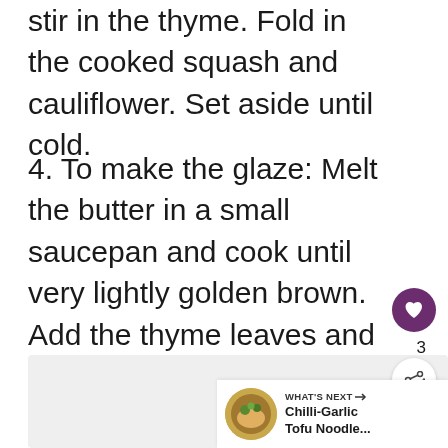stir in the thyme. Fold in the cooked squash and cauliflower. Set aside until cold.
4. To make the glaze: Melt the butter in a small saucepan and cook until very lightly golden brown. Add the thyme leaves and set aside to cool. When warm, stir in the honey.
[Figure (photo): A food photo (partially visible, light gray placeholder area)]
[Figure (screenshot): UI overlay: heart/like button (purple circle with heart icon), count '3', share button, and 'WHAT'S NEXT' panel showing Chilli-Garlic Tofu Noodle... with thumbnail]